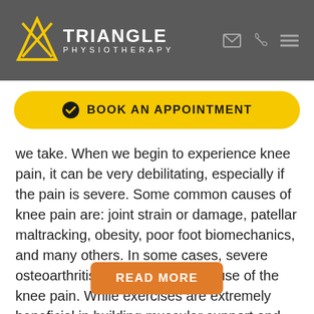[Figure (logo): Triangle Physiotherapy logo with stylized triangle icon and text 'TRIANGLE PHYSIOTHERAPY' on dark grey header background]
[Figure (other): Yellow 'BOOK AN APPOINTMENT' button with checkmark icon]
we take. When we begin to experience knee pain, it can be very debilitating, especially if the pain is severe. Some common causes of knee pain are: joint strain or damage, patellar maltracking, obesity, poor foot biomechanics, and many others. In some cases, severe osteoarthritis (OA) can be the cause of the knee pain. While exercises are extremely beneficial in building muscular support and managing the effects of the...
[Figure (other): Orange 'READ MORE' button]